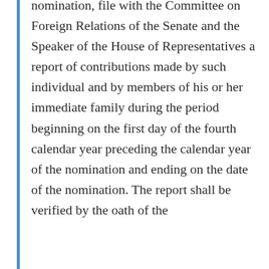nomination, file with the Committee on Foreign Relations of the Senate and the Speaker of the House of Representatives a report of contributions made by such individual and by members of his or her immediate family during the period beginning on the first day of the fourth calendar year preceding the calendar year of the nomination and ending on the date of the nomination. The report shall be verified by the oath of the